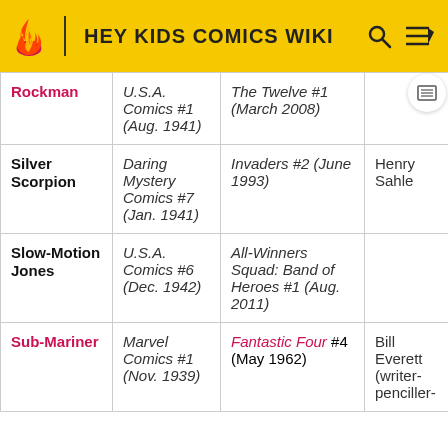HEY KIDS COMICS WIKI
| Character | First Appearance | Modern Appearance | Creator(s) |
| --- | --- | --- | --- |
| Rockman | U.S.A. Comics #1 (Aug. 1941) | The Twelve #1 (March 2008) |  |
| Silver Scorpion | Daring Mystery Comics #7 (Jan. 1941) | Invaders #2 (June 1993) | Henry Sahle |
| Slow-Motion Jones | U.S.A. Comics #6 (Dec. 1942) | All-Winners Squad: Band of Heroes #1 (Aug. 2011) |  |
| Sub-Mariner | Marvel Comics #1 (Nov. 1939) | Fantastic Four #4 (May 1962) | Bill Everett (writer-penciller-inker) |